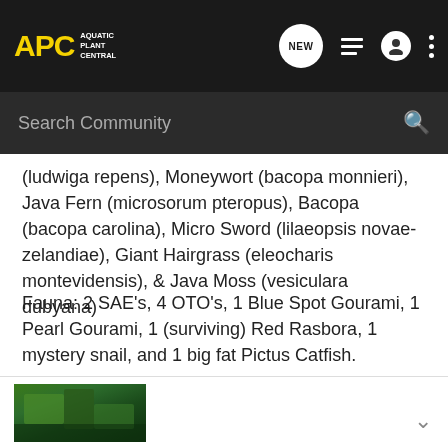APC Aquatic Plant Central
(ludwiga repens), Moneywort (bacopa monnieri), Java Fern (microsorum pteropus), Bacopa (bacopa carolina), Micro Sword (lilaeopsis novae-zelandiae), Giant Hairgrass (eleocharis montevidensis), & Java Moss (vesiculara dubyana)
Fauna: 2 SAE's, 4 OTO's, 1 Blue Spot Gourami, 1 Pearl Gourami, 1 (surviving) Red Rasbora, 1 mystery snail, and 1 big fat Pictus Catfish.
[Figure (photo): Aquatic planted tank photo showing green aquatic plants]